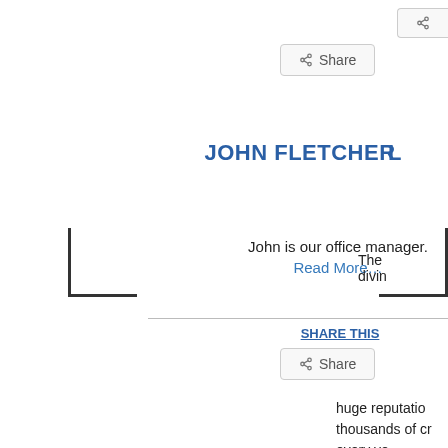Share
JOHN FLETCHER
John is our office manager.
Read More…
SHARE THIS
Share
L…
The… diving…
huge reputation… thousands of cr… every ye…
SH…
Share (partial)
AMBON AND SERAM
Ambon is fast becoming the location for critter diving and there are some excellent
Black… diving… sites…